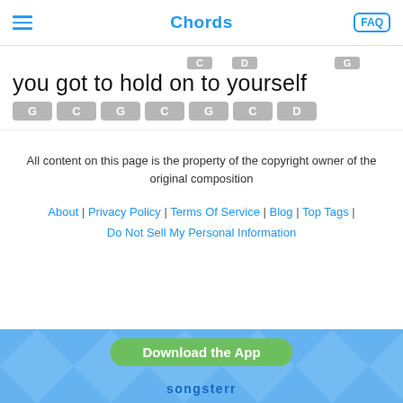Chords
you got to hold on to yourself
G C G C G C D
All content on this page is the property of the copyright owner of the original composition
About | Privacy Policy | Terms Of Service | Blog | Top Tags | Do Not Sell My Personal Information
Download the App
sonsgterr